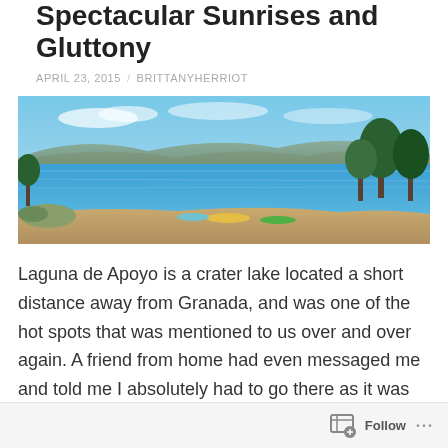Spectacular Sunrises and Gluttony
APRIL 23, 2015 / BRITTANYHERRIOT
[Figure (photo): Panoramic photo of Laguna de Apoyo crater lake with blue water, sandy beach, kayaks, and trees under a blue sky with mountains in the background.]
Laguna de Apoyo is a crater lake located a short distance away from Granada, and was one of the hot spots that was mentioned to us over and over again. A friend from home had even messaged me and told me I absolutely had to go there as it was her favorite place in all of Nicaragua, so I was pretty excited to get there. We took a short 45 minute shuttle ride; our bus meandered up the hills to climb the old volcano and then winded back
Follow ...